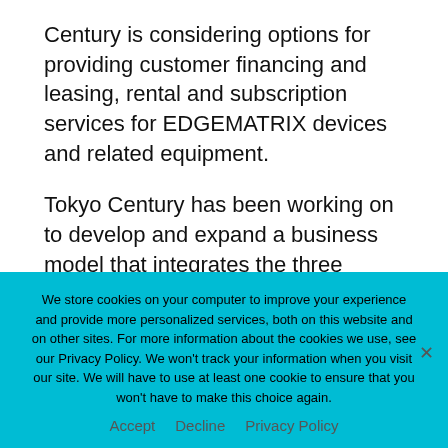Century is considering options for providing customer financing and leasing, rental and subscription services for EDGEMATRIX devices and related equipment.
Tokyo Century has been working on to develop and expand a business model that integrates the three spheres of “Finance x Services x Business Expertise” through business co-creation with excellent partners as a company with financial
We store cookies on your computer to improve your experience and provide more personalized services, both on this website and on other sites. For more information about the cookies we use, see our Privacy Policy. We won’t track your information when you visit our site. We will have to use at least one cookie to ensure that you won’t have to make this choice again.
Accept   Decline   Privacy Policy